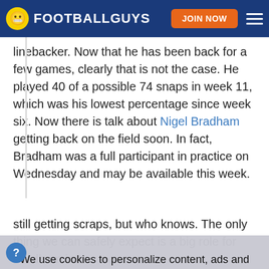FOOTBALLGUYS — JOIN NOW
linebacker. Now that he has been back for a few games, clearly that is not the case. He played 40 of a possible 74 snaps in week 11, which was his lowest percentage since week six. Now there is talk about Nigel Bradham getting back on the field soon. In fact, Bradham was a full participant in practice on Wednesday and may be available this week.
We use cookies to personalize content, ads and analyze site traffic.
Learn More
OKAY
still getting scraps, but who knows. The only thing we can safely expect is a big role for Bradham in